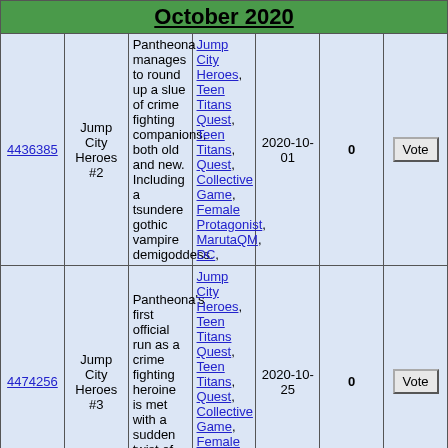| ID | Title | Description | Tags | Date | Score | Vote |
| --- | --- | --- | --- | --- | --- | --- |
| 4436385 | Jump City Heroes #2 | Pantheona manages to round up a slue of crime fighting companions, both old and new. Including a tsundere gothic vampire demigoddess. | Jump City Heroes, Teen Titans Quest, Teen Titans, Quest, Collective Game, Female Protagonist, MarutaQM, DC, | 2020-10-01 | 0 | Vote |
| 4474256 | Jump City Heroes #3 | Pantheona's first official run as a crime fighting heroine is met with a sudden twist of fate. | Jump City Heroes, Teen Titans Quest, Teen Titans, Quest, Collective Game, Female Protagonist, MarutaQM, DC, | 2020-10-25 | 0 | Vote |